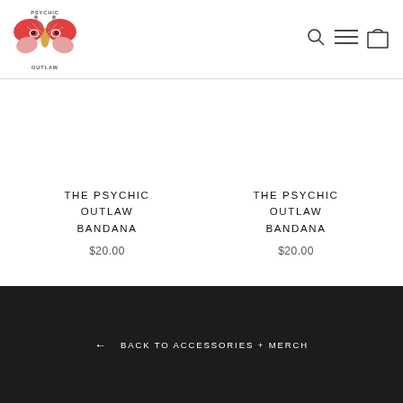[Figure (logo): Psychic Outlaw butterfly logo with text]
THE PSYCHIC OUTLAW BANDANA $20.00
THE PSYCHIC OUTLAW BANDANA $20.00
← BACK TO ACCESSORIES + MERCH